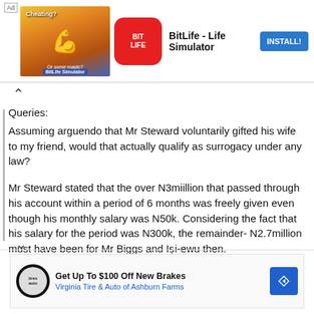[Figure (screenshot): Top advertisement banner for BitLife - Life Simulator app with INSTALL! button]
Queries:
Assuming arguendo that Mr Steward voluntarily gifted his wife to my friend, would that actually qualify as surrogacy under any law?

Mr Steward stated that the over N3miillion that passed through his account within a period of 6 months was freely given even though his monthly salary was N50k. Considering the fact that his salary for the period was N300k, the remainder- N2.7million must have been for Mr Biggs and Iṣi-ewu then.
[Figure (screenshot): Bottom advertisement banner: Get Up To $100 Off New Brakes - Virginia Tire & Auto of Ashburn Farms]